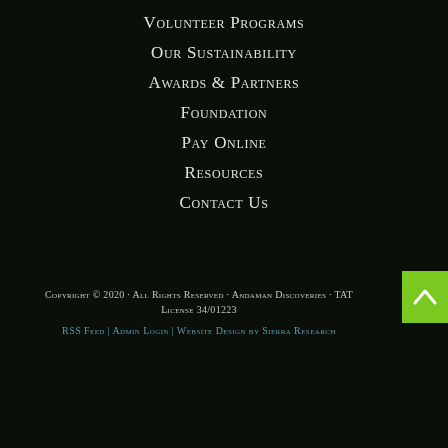Volunteer Programs
Our Sustainability
Awards & Partners
Foundation
Pay Online
Resources
Contact Us
Copyright © 2020 · All Rights Reserved · Andaman Discoveries · TAT License 34/01223
RSS Feed | Admin Login | Website Design by Sierra Research